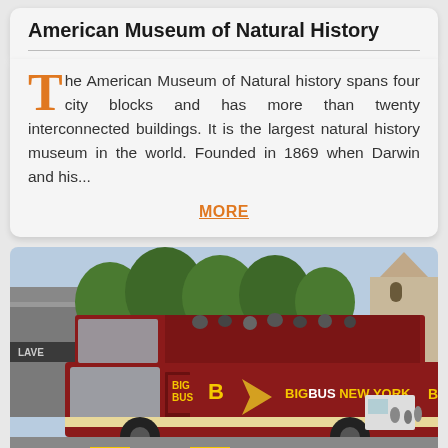American Museum of Natural History
The American Museum of Natural history spans four city blocks and has more than twenty interconnected buildings. It is the largest natural history museum in the world. Founded in 1869 when Darwin and his...
MORE
[Figure (photo): A Big Bus New York double-decker tour bus (red with yellow text) on a city street with trees and buildings in the background]